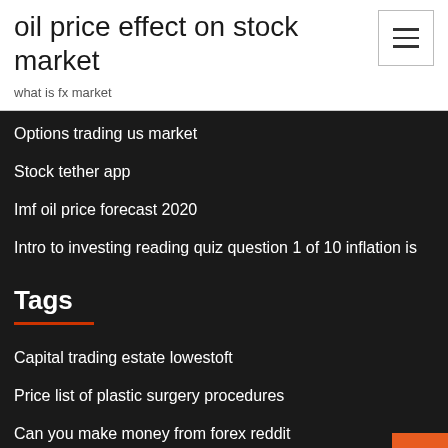oil price effect on stock market
what is fx market
Options trading us market
Stock tether app
Imf oil price forecast 2020
Intro to investing reading quiz question 1 of 10 inflation is
Tags
Capital trading estate lowestoft
Price list of plastic surgery procedures
Can you make money from forex reddit
Ic markets review forex peace army